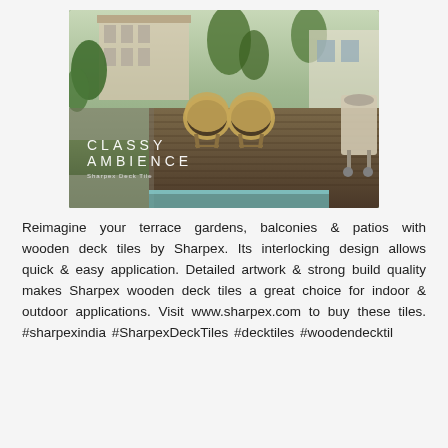[Figure (photo): Outdoor terrace scene with rattan egg chairs on wooden deck tiles, lush tropical plants, a building in the background, and a BBQ grill on the right. Text overlay reads 'CLASSY AMBIENCE' with 'Sharpex Deck Tile' below.]
Reimagine your terrace gardens, balconies & patios with wooden deck tiles by Sharpex. Its interlocking design allows quick & easy application. Detailed artwork & strong build quality makes Sharpex wooden deck tiles a great choice for indoor & outdoor applications. Visit www.sharpex.com to buy these tiles. #sharpexindia #SharpexDeckTiles #decktiles #woodendecktil